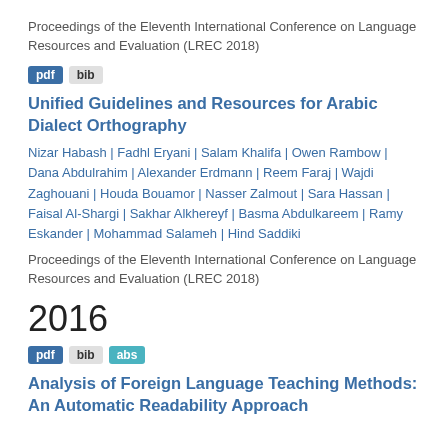Proceedings of the Eleventh International Conference on Language Resources and Evaluation (LREC 2018)
pdf | bib
Unified Guidelines and Resources for Arabic Dialect Orthography
Nizar Habash | Fadhl Eryani | Salam Khalifa | Owen Rambow | Dana Abdulrahim | Alexander Erdmann | Reem Faraj | Wajdi Zaghouani | Houda Bouamor | Nasser Zalmout | Sara Hassan | Faisal Al-Shargi | Sakhar Alkhereyf | Basma Abdulkareem | Ramy Eskander | Mohammad Salameh | Hind Saddiki
Proceedings of the Eleventh International Conference on Language Resources and Evaluation (LREC 2018)
2016
pdf | bib | abs
Analysis of Foreign Language Teaching Methods: An Automatic Readability Approach